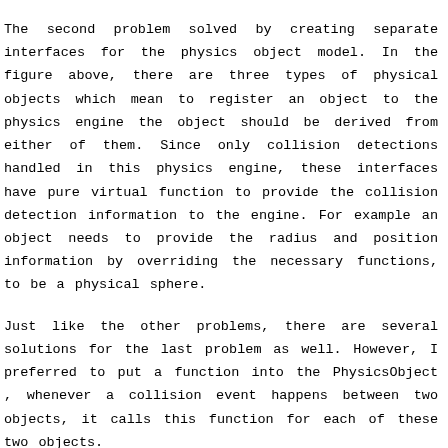The second problem solved by creating separate interfaces for the physics object model. In the figure above, there are three types of physical objects which mean to register an object to the physics engine the object should be derived from either of them. Since only collision detections handled in this physics engine, these interfaces have pure virtual function to provide the collision detection information to the engine. For example an object needs to provide the radius and position information by overriding the necessary functions, to be a physical sphere.
Just like the other problems, there are several solutions for the last problem as well. However, I preferred to put a function into the PhysicsObject , whenever a collision event happens between two objects, it calls this function for each of these two objects.
After solving these major problems, I faced with other problems about preventing unnecessary collision tests. For example according to the game specification, PowerBox, SpeedBox and MultiBox shouldn't be affected by the spaceship's attacks however these boxes should be able to collide with the